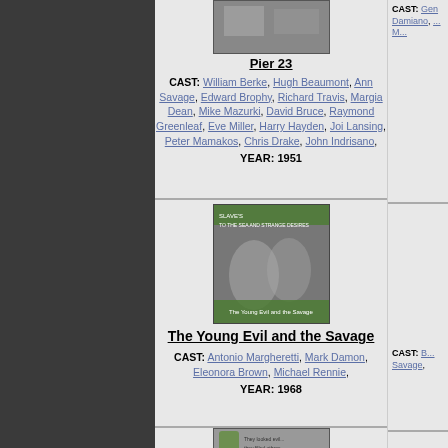[Figure (photo): Movie poster for Pier 23 (partially visible at top)]
Pier 23
CAST: William Berke, Hugh Beaumont, Ann Savage, Edward Brophy, Richard Travis, Margia Dean, Mike Mazurki, David Bruce, Raymond Greenleaf, Eve Miller, Harry Hayden, Joi Lansing, Peter Mamakos, Chris Drake, John Indrisano,
YEAR: 1951
[Figure (photo): Movie poster for The Young Evil and the Savage]
The Young Evil and the Savage
CAST: Antonio Margheretti, Mark Damon, Eleonora Brown, Michael Rennie,
YEAR: 1968
[Figure (photo): Movie poster partially visible at bottom]